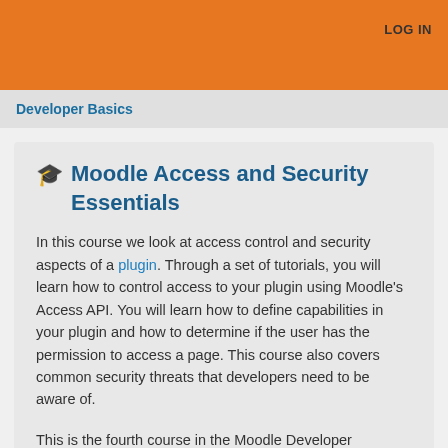LOG IN
Developer Basics
🎓 Moodle Access and Security Essentials
In this course we look at access control and security aspects of a plugin. Through a set of tutorials, you will learn how to control access to your plugin using Moodle's Access API. You will learn how to define capabilities in your plugin and how to determine if the user has the permission to access a page. This course also covers common security threats that developers need to be aware of.
This is the fourth course in the Moodle Developer